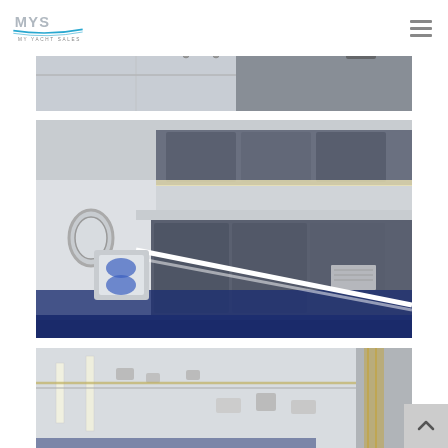MY YACHT SALES logo and navigation menu
[Figure (photo): Partial view of yacht interior storage area, ceiling/upper section with metal fittings]
[Figure (photo): Interior of yacht storage hold showing shelving units with multiple large dark grey plastic storage bins/containers stacked on shelves, blue carpeted floor, white walls with porthole]
[Figure (photo): Yacht interior ceiling view showing white ceiling panels with fluorescent lighting strips and various fittings]